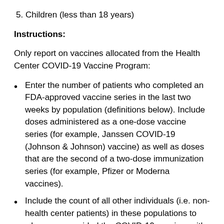5. Children (less than 18 years)
Instructions:
Only report on vaccines allocated from the Health Center COVID-19 Vaccine Program:
Enter the number of patients who completed an FDA-approved vaccine series in the last two weeks by population (definitions below). Include doses administered as a one-dose vaccine series (for example, Janssen COVID-19 (Johnson & Johnson) vaccine) as well as doses that are the second of a two-dose immunization series (for example, Pfizer or Moderna vaccines).
Include the count of all other individuals (i.e. non-health center patients) in these populations to whom you provided the COVID-19 vaccine, with the